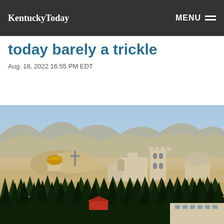KentuckyToday | MENU
today barely a trickle
Aug. 18, 2022 16:55 PM EDT
[Figure (photo): Aerial view of a desert landscape with churches and buildings, including a golden dome, a large cross, and a church tower, with arid hills in the background and trees/vegetation in the foreground.]